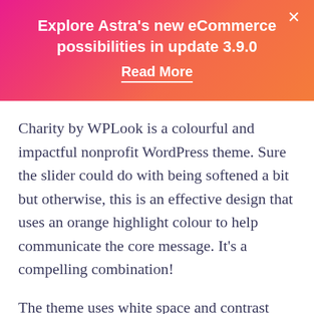[Figure (other): Pink to orange gradient banner with promotional text and close button]
Explore Astra’s new eCommerce possibilities in update 3.9.0
Read More
Charity by WPLook is a colourful and impactful nonprofit WordPress theme. Sure the slider could do with being softened a bit but otherwise, this is an effective design that uses an orange highlight colour to help communicate the core message. It’s a compelling combination!
The theme uses white space and contrast colours well. Messages are clearly communicated and the images back them up. The white spaces gives you a moment of pause before the next content block and is partly